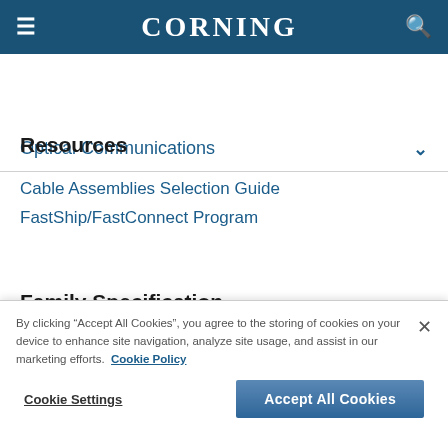CORNING
Optical Communications
Resources
Cable Assemblies Selection Guide
FastShip/FastConnect Program
By clicking “Accept All Cookies”, you agree to the storing of cookies on your device to enhance site navigation, analyze site usage, and assist in our marketing efforts. Cookie Policy
Cookie Settings
Accept All Cookies